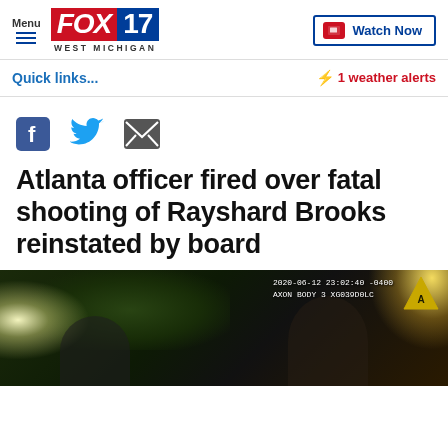FOX 17 WEST MICHIGAN — Menu | Watch Now
Quick links... ⚡ 1 weather alerts
[Figure (illustration): Social sharing icons: Facebook, Twitter, Email]
Atlanta officer fired over fatal shooting of Rayshard Brooks reinstated by board
[Figure (photo): Body camera footage screenshot dated 2020-06-12 23:02:40 -0400, AXON BODY 3 XG039D0LC, showing two individuals outdoors at night near trees with bright lights]